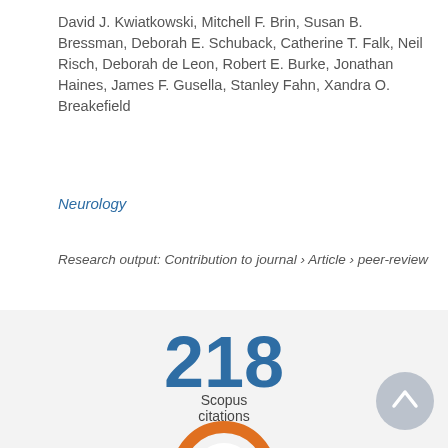David J. Kwiatkowski, Mitchell F. Brin, Susan B. Bressman, Deborah E. Schuback, Catherine T. Falk, Neil Risch, Deborah de Leon, Robert E. Burke, Jonathan Haines, James F. Gusella, Stanley Fahn, Xandra O. Breakefield
Neurology
Research output: Contribution to journal › Article › peer-review
[Figure (other): Citation count badge showing 218 Scopus citations]
[Figure (donut-chart): Donut chart badge showing number 3]
[Figure (other): Scroll-to-top button (grey circle with upward arrow)]